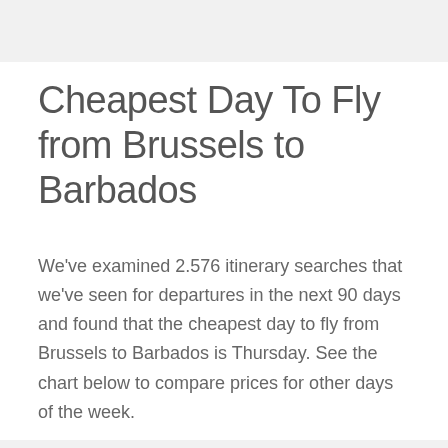Cheapest Day To Fly from Brussels to Barbados
We've examined 2.576 itinerary searches that we've seen for departures in the next 90 days and found that the cheapest day to fly from Brussels to Barbados is Thursday. See the chart below to compare prices for other days of the week.
| Day | Price |
| --- | --- |
| MONDAY | $1023 |